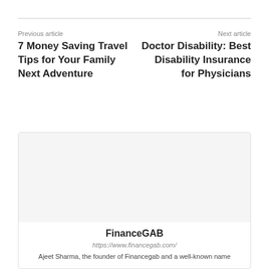Previous article
7 Money Saving Travel Tips for Your Family Next Adventure
Next article
Doctor Disability: Best Disability Insurance for Physicians
FinanceGAB
https://www.financegab.com/
Ajeet Sharma, the founder of Financegab and a well-known name